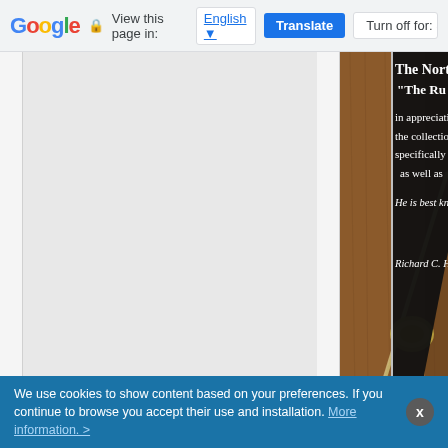[Figure (screenshot): Google Translate browser toolbar showing 'View this page in: English' with Translate and Turn off buttons]
[Figure (photo): Photograph of a wooden plaque with a black metal plate. Visible text includes: 'The Northwest M', '"The Ru', 'in appreciation of', 'the collection and p', 'specifically from N', 'as well as', 'He is best known for his extens', 'Richard C. Harve']
We use cookies to show content based on your preferences. If you continue to browse you accept their use and installation. More information. >